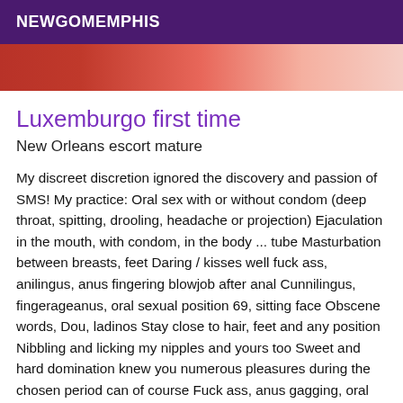NEWGOMEMPHIS
[Figure (photo): Partial photo of a person wearing red, cropped at top of content area]
Luxemburgo first time
New Orleans escort mature
My discreet discretion ignored the discovery and passion of SMS! My practice: Oral sex with or without condom (deep throat, spitting, drooling, headache or projection) Ejaculation in the mouth, with condom, in the body ... tube Masturbation between breasts, feet Daring / kisses well fuck ass, anilingus, anus fingering blowjob after anal Cunnilingus, fingerageanus, oral sexual position 69, sitting face Obscene words, Dou, ladinos Stay close to hair, feet and any position Nibbling and licking my nipples and yours too Sweet and hard domination knew you numerous pleasures during the chosen period can of course Fuck ass, anus gagging, oral sex after anal sex and your real images kissed Yes Yes The nature covered Blowhole: deep throat correct dress and dress